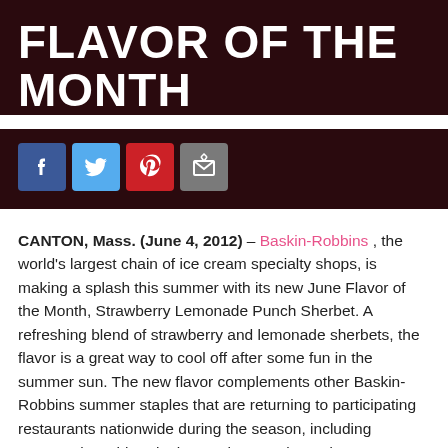FLAVOR OF THE MONTH
[Figure (other): Social media share icons: Facebook (blue), Twitter (light blue), Pinterest (red), Email (grey)]
CANTON, Mass. (June 4, 2012) – Baskin-Robbins , the world's largest chain of ice cream specialty shops, is making a splash this summer with its new June Flavor of the Month, Strawberry Lemonade Punch Sherbet. A refreshing blend of strawberry and lemonade sherbets, the flavor is a great way to cool off after some fun in the summer sun. The new flavor complements other Baskin-Robbins summer staples that are returning to participating restaurants nationwide during the season, including Watermelon Chip, Blueberry Cheesecake and No Sugar Added Pineapple Coconut.